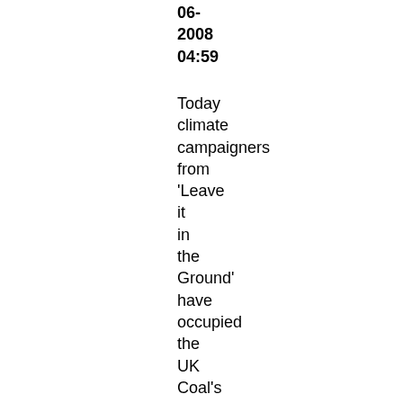06-2008 04:59
Today climate campaigners from 'Leave it in the Ground' have occupied the UK Coal's Lodge House site in Derbyshire by barricading themselves in a